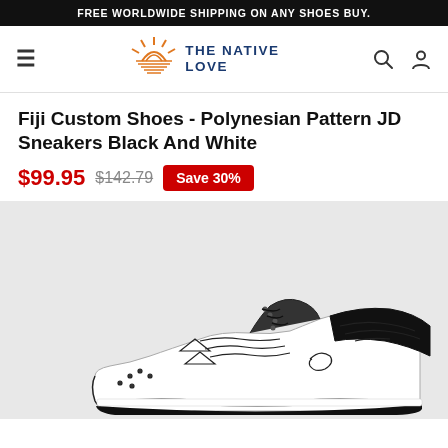FREE WORLDWIDE SHIPPING ON ANY SHOES BUY.
[Figure (logo): The Native Love brand logo with orange sun/Native American symbol and blue text THE NATIVE LOVE]
Fiji Custom Shoes - Polynesian Pattern JD Sneakers Black And White
$99.95  $142.79  Save 30%
[Figure (photo): Photo of a high-top Jordan-style sneaker with black and white Polynesian/tribal pattern design on a light gray background]